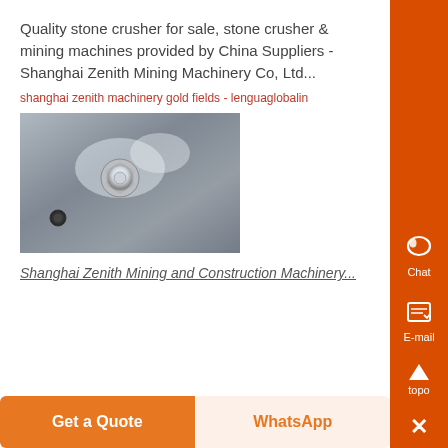Quality stone crusher for sale, stone crusher & mining machines provided by China Suppliers - Shanghai Zenith Mining Machinery Co, Ltd...
shanghai zenith machinery gold fields - lenguaglobalin
[Figure (photo): Close-up photo of a metal surface with a bolt/screw component, grey metallic background]
Shanghai Zenith Mining and Construction Machinery...